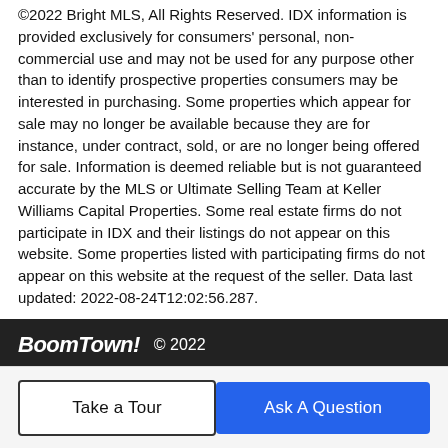©2022 Bright MLS, All Rights Reserved. IDX information is provided exclusively for consumers' personal, non-commercial use and may not be used for any purpose other than to identify prospective properties consumers may be interested in purchasing. Some properties which appear for sale may no longer be available because they are for instance, under contract, sold, or are no longer being offered for sale. Information is deemed reliable but is not guaranteed accurate by the MLS or Ultimate Selling Team at Keller Williams Capital Properties. Some real estate firms do not participate in IDX and their listings do not appear on this website. Some properties listed with participating firms do not appear on this website at the request of the seller. Data last updated: 2022-08-24T12:02:56.287.
BoomTown! © 2022 | Terms of Use | Privacy Policy | Accessibility | DMCA | Listings Sitemap
Take a Tour
Ask A Question